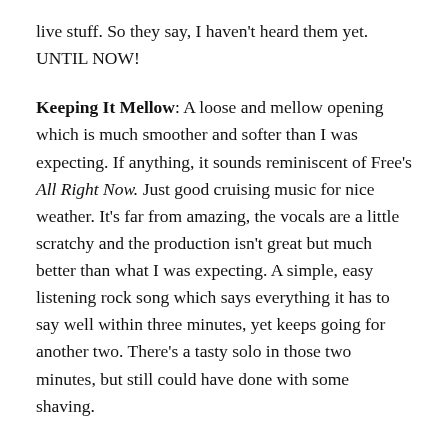live stuff. So they say, I haven't heard them yet. UNTIL NOW!
Keeping It Mellow: A loose and mellow opening which is much smoother and softer than I was expecting. If anything, it sounds reminiscent of Free's All Right Now. Just good cruising music for nice weather. It's far from amazing, the vocals are a little scratchy and the production isn't great but much better than what I was expecting. A simple, easy listening rock song which says everything it has to say well within three minutes, yet keeps going for another two. There's a tasty solo in those two minutes, but still could have done with some shaving.
Life In The City: Another good intro, some guitars with a flange or phaser effect, the vocals are a little too shouty